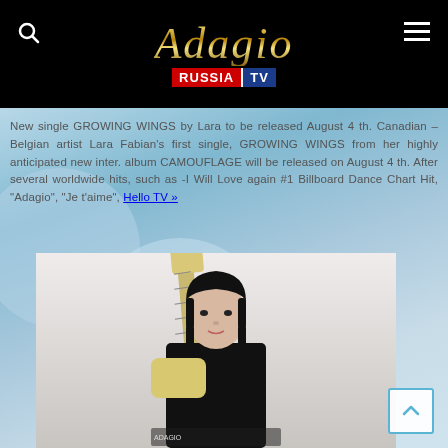Adagio Russia TV
New single GROWING WINGS by Lara to be released August 4 th. Canadian – Belgian artist Lara Fabian's first single, GROWING WINGS from her highly anticipated new inter. album CAMOUFLAGE will be released on August 4 th. After several worldwide hits, such as -I Will Love again #1 Billboard Dance Chart Hit, "Adagio", "Je t'aime", Hello TV »
[Figure (photo): Photo of a woman with black hair holding a guitar, wearing black clothing, against a light background]